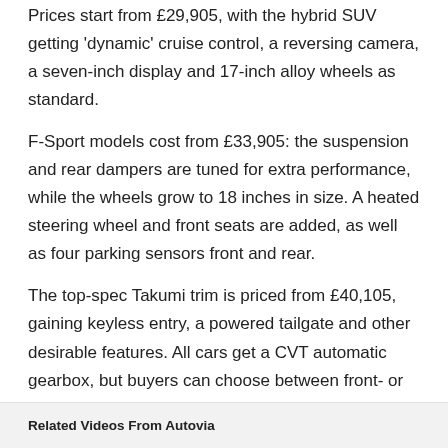Prices start from £29,905, with the hybrid SUV getting 'dynamic' cruise control, a reversing camera, a seven-inch display and 17-inch alloy wheels as standard.
F-Sport models cost from £33,905: the suspension and rear dampers are tuned for extra performance, while the wheels grow to 18 inches in size. A heated steering wheel and front seats are added, as well as four parking sensors front and rear.
The top-spec Takumi trim is priced from £40,105, gaining keyless entry, a powered tailgate and other desirable features. All cars get a CVT automatic gearbox, but buyers can choose between front- or 'E-Four' all-wheel drive.
Related Videos From Autovia